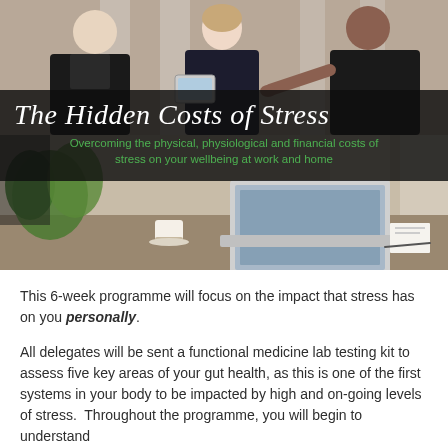[Figure (photo): Top photo: three business professionals in an office conflict scene — two men appear to be arguing or confronting a woman who sits between them with eyes closed, in a workplace setting.]
The Hidden Costs of Stress
Overcoming the physical, physiological and financial costs of stress on your wellbeing at work and home
[Figure (photo): Bottom photo: A business professional sitting at a desk with a laptop open, a green plant in the background, and a coffee cup nearby, in a modern office environment.]
This 6-week programme will focus on the impact that stress has on you personally.
All delegates will be sent a functional medicine lab testing kit to assess five key areas of your gut health, as this is one of the first systems in your body to be impacted by high and on-going levels of stress.  Throughout the programme, you will begin to understand